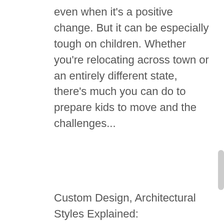even when it's a positive change. But it can be especially tough on children. Whether you're relocating across town or an entirely different state, there's much you can do to prepare kids to move and the challenges...
Custom Design, Architectural Styles Explained: